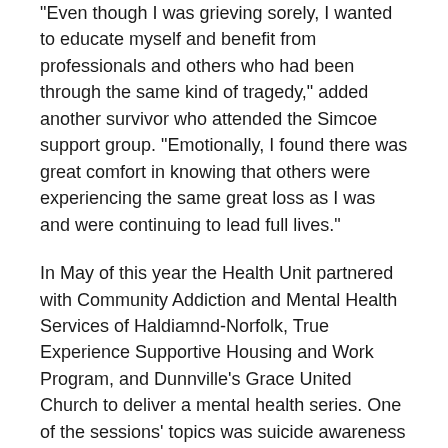“Even though I was grieving sorely, I wanted to educate myself and benefit from professionals and others who had been through the same kind of tragedy,” added another survivor who attended the Simcoe support group. “Emotionally, I found there was great comfort in knowing that others were experiencing the same great loss as I was and were continuing to lead full lives.”
In May of this year the Health Unit partnered with Community Addiction and Mental Health Services of Haldiamnd-Norfolk, True Experience Supportive Housing and Work Program, and Dunnville’s Grace United Church to deliver a mental health series. One of the sessions’ topics was suicide awareness and prevention, which started a discussion about the need for a suicide bereavement support group in Dunnville.
There are approximately 14 suicides each year in Haldimand-Norfolk. However, many other suicidal deaths go unreported, or are recorded as single car accidents or